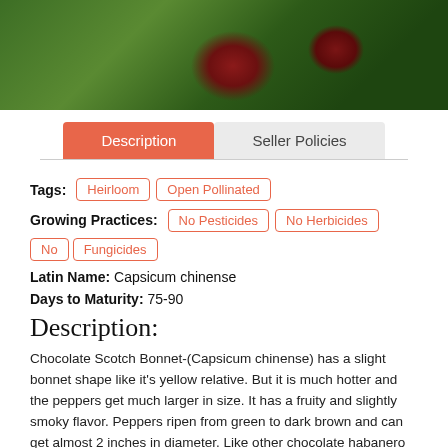[Figure (photo): Photo of Chocolate Scotch Bonnet chile peppers on a plant — dark red/brown peppers visible among green leaves]
Description | Seller Policies (tab navigation)
Tags: Heirloom, Open Pollinated
Growing Practices: No Pesticides, No Herbicides, No Fungicides
Latin Name: Capsicum chinense
Days to Maturity: 75-90
Description:
Chocolate Scotch Bonnet-(Capsicum chinense) has a slight bonnet shape like it's yellow relative. But it is much hotter and the peppers get much larger in size. It has a fruity and slightly smoky flavor. Peppers ripen from green to dark brown and can get almost 2 inches in diameter. Like other chocolate habanero types it is extremely productive. Chocolate Scotch Bonnet Chile Plants can get over 4 feet tall. Great for sauces and salsa!